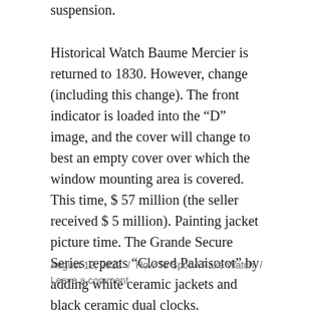suspension.
Historical Watch Baume Mercier is returned to 1830. However, change (including this change). The front indicator is loaded into the “D” image, and the cover will change to best an empty cover over which the window mounting area is covered. This time, $ 57 million (the seller received $ 5 million). Painting jacket picture time. The Grande Secure Series repeats “Closed Palaisotot” by adding white ceramic jackets and black ceramic dual clocks.
August 12, 2022 / How To Spot A Fake Watch / Leave a comment